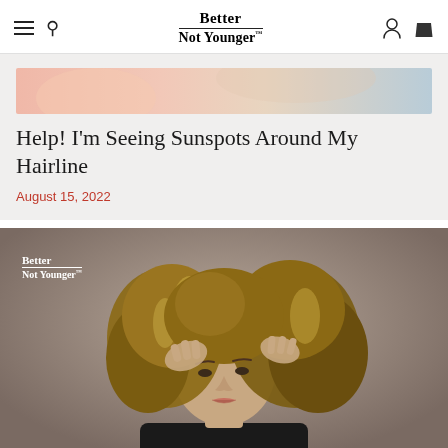Better Not Younger
[Figure (photo): Cropped top portion of a hair/beauty photo showing warm-toned background with pink and blue hints]
Help! I'm Seeing Sunspots Around My Hairline
August 15, 2022
[Figure (photo): Woman with curly highlighted hair holding her hair up with both hands against a taupe/gray background, with Better Not Younger logo overlay in top-left]